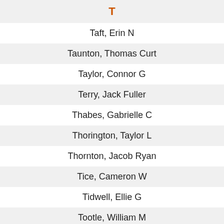T
Taft,  Erin N
Taunton,  Thomas Curt
Taylor,  Connor G
Terry,  Jack Fuller
Thabes,  Gabrielle C
Thorington,  Taylor L
Thornton,  Jacob Ryan
Tice,  Cameron W
Tidwell,  Ellie G
Tootle,  William M
Truong,  Hoang M